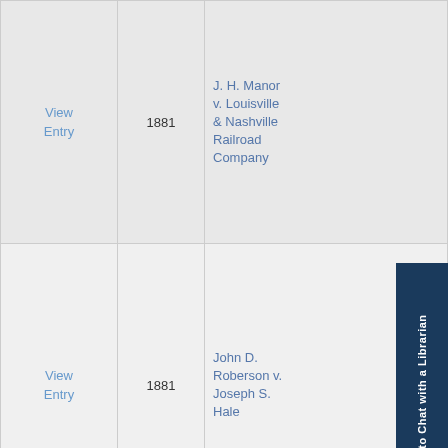| Link | Year | Case Name |
| --- | --- | --- |
| View Entry | 1881 | J. H. Manor v. Louisville & Nashville Railroad Company |
| View Entry | 1881 | John D. Roberson v. Joseph S. Hale |
| View Entry | 1881 | J. H. Thomas v. S. Walker et al. |
| View Entry | 1881 | John Williamson v. Dr. William... |